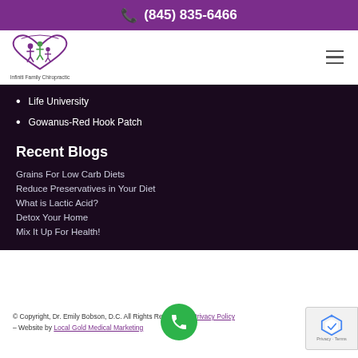(845) 835-6466
[Figure (logo): Infiniti Family Chiropractic logo with stylized figures and text]
Life University
Gowanus-Red Hook Patch
Recent Blogs
Grains For Low Carb Diets
Reduce Preservatives in Your Diet
What is Lactic Acid?
Detox Your Home
Mix It Up For Health!
© Copyright, Dr. Emily Bobson, D.C. All Rights Reserved. – Privacy Policy – Website by Local Gold Medical Marketing